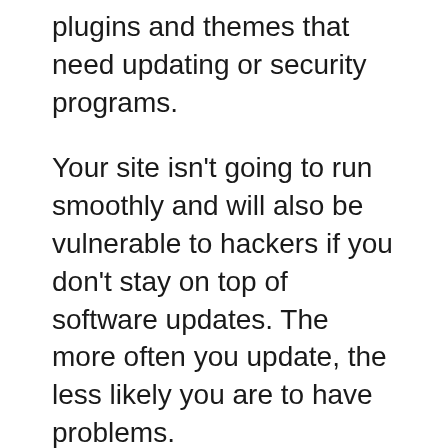plugins and themes that need updating or security programs.
Your site isn't going to run smoothly and will also be vulnerable to hackers if you don't stay on top of software updates. The more often you update, the less likely you are to have problems.
Keeping your software updated also ensures your site loads quickly when visitors arrive; speed has an impact on SEO.
Don't miss vital leads or sales by neglecting content, security, backup and regular software updates.
Remember: the cost of repairing online